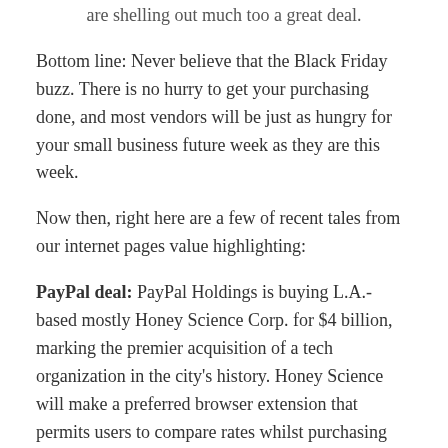are shelling out much too a great deal.
Bottom line: Never believe that the Black Friday buzz. There is no hurry to get your purchasing done, and most vendors will be just as hungry for your small business future week as they are this week.
Now then, right here are a few of recent tales from our internet pages value highlighting:
PayPal deal: PayPal Holdings is buying L.A.-based mostly Honey Science Corp. for $4 billion, marking the premier acquisition of a tech organization in the city's history. Honey Science will make a preferred browser extension that permits users to compare rates whilst purchasing on-line.
SoCalGas: A internet marketing marketing campaign for all-natural gasoline led by the American Public Gas Assn., a trade